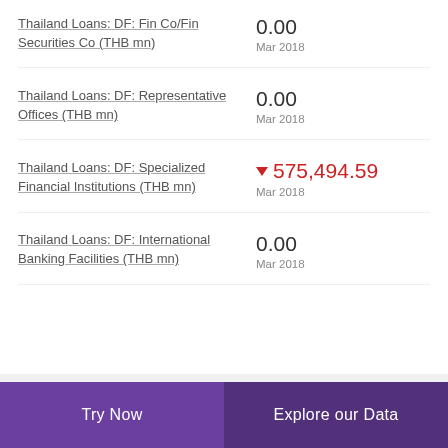Thailand Loans: DF: Fin Co/Fin Securities Co (THB mn)
0.00 Mar 2018
Thailand Loans: DF: Representative Offices (THB mn)
0.00 Mar 2018
Thailand Loans: DF: Specialized Financial Institutions (THB mn)
▼ 575,494.59 Mar 2018
Thailand Loans: DF: International Banking Facilities (THB mn)
0.00 Mar 2018
Try Now | Explore our Data